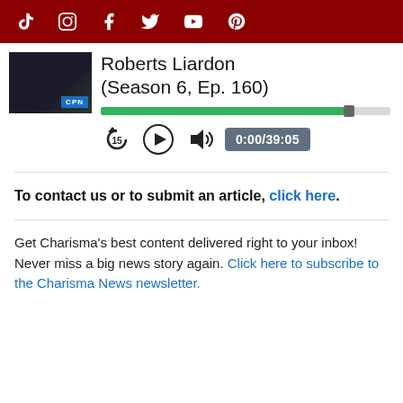TikTok Instagram Facebook Twitter YouTube Pinterest — social media icons nav bar
Roberts Liardon (Season 6, Ep. 160)
[Figure (screenshot): Podcast player with progress bar and controls showing 0:00/39:05]
To contact us or to submit an article, click here.
Get Charisma's best content delivered right to your inbox! Never miss a big news story again. Click here to subscribe to the Charisma News newsletter.